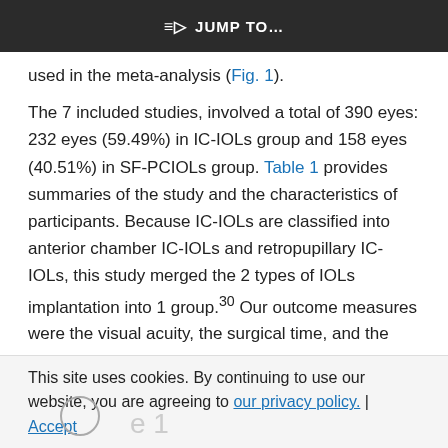JUMP TO...
used in the meta-analysis (Fig. 1).
The 7 included studies, involved a total of 390 eyes: 232 eyes (59.49%) in IC-IOLs group and 158 eyes (40.51%) in SF-PCIOLs group. Table 1 provides summaries of the study and the characteristics of participants. Because IC-IOLs are classified into anterior chamber IC-IOLs and retropupillary IC-IOLs, this study merged the 2 types of IOLs implantation into 1 group.30 Our outcome measures were the visual acuity, the surgical time, and the
This site uses cookies. By continuing to use our website, you are agreeing to our privacy policy. Accept